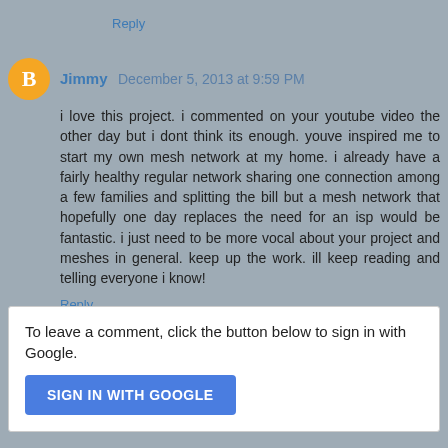Reply
Jimmy  December 5, 2013 at 9:59 PM
i love this project. i commented on your youtube video the other day but i dont think its enough. youve inspired me to start my own mesh network at my home. i already have a fairly healthy regular network sharing one connection among a few families and splitting the bill but a mesh network that hopefully one day replaces the need for an isp would be fantastic. i just need to be more vocal about your project and meshes in general. keep up the work. ill keep reading and telling everyone i know!
Reply
To leave a comment, click the button below to sign in with Google.
SIGN IN WITH GOOGLE